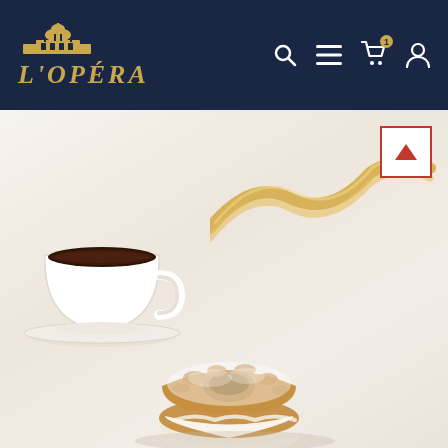L'OPÉRA — website header with logo and navigation icons (search, menu, cart, account)
[Figure (photo): Product photo of two Paris-Brest cream puff pastries dusted with powdered sugar, alongside a white cup of black coffee on a saucer, with a gold satin ribbon, all on a white background. A red scroll-to-top button with a triangle/arrow is in the upper right corner.]